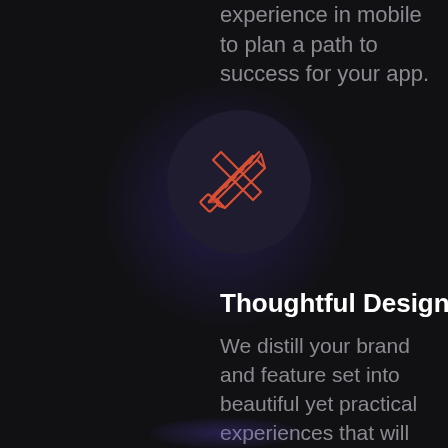expertise with our deep experience in mobile to plan a path to success for your app.
[Figure (illustration): Dark circular background with a red outline crossed pencil and ruler icon in the center, with a purple glow beneath the circle]
Thoughtful Design
We distill your brand and feature set into beautiful yet practical experiences that will engage and delight your users.